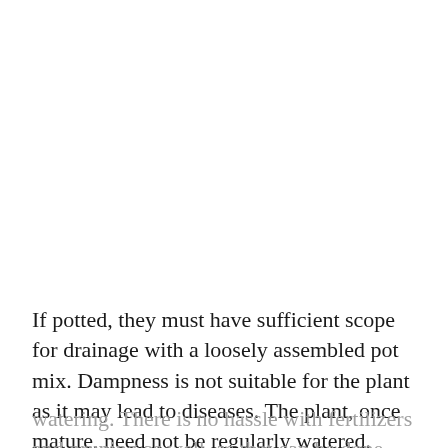If potted, they must have sufficient scope for drainage with a loosely assembled pot mix. Dampness is not suitable for the plant as it may lead to diseases. The plant, once mature, need not be regularly watered. [If] a longer draught condition prevails, do the plan[t nee]ds watering. There is no hassle with fertilizers and pruning as well, as that can be done once a year. These plants are